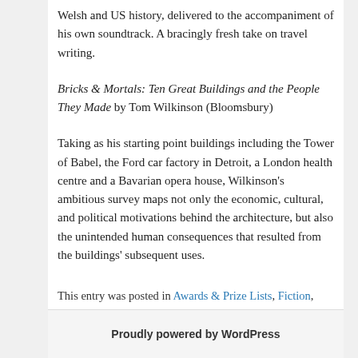Welsh and US history, delivered to the accompaniment of his own soundtrack. A bracingly fresh take on travel writing.
Bricks & Mortals: Ten Great Buildings and the People They Made by Tom Wilkinson (Bloomsbury)
Taking as his starting point buildings including the Tower of Babel, the Ford car factory in Detroit, a London health centre and a Bavarian opera house, Wilkinson's ambitious survey maps not only the economic, cultural, and political motivations behind the architecture, but also the unintended human consequences that resulted from the buildings' subsequent uses.
This entry was posted in Awards & Prize Lists, Fiction, Non Fiction and tagged Author, books, Parramatta City Library, reading, The Guardian First Book Award Longlist 2014, Writer by admin. Bookmark the permalink.
Proudly powered by WordPress